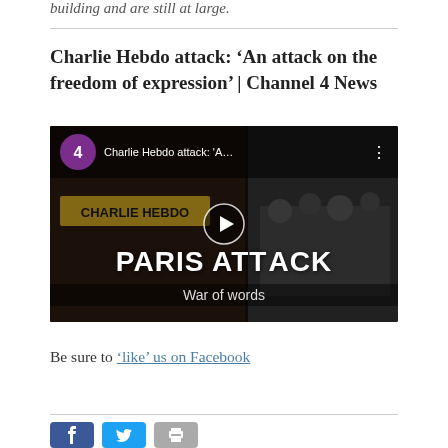building and are still at large.
Charlie Hebdo attack: ‘An attack on the freedom of expression’ | Channel 4 News
[Figure (screenshot): YouTube video thumbnail for Channel 4 News video titled 'Charlie Hebdo attack: A...' showing dark imagery with text 'PARIS ATTACK' and 'War of words', with a play button in the center.]
Be sure to ‘like’ us on Facebook
Social share buttons: Facebook, Twitter, Print